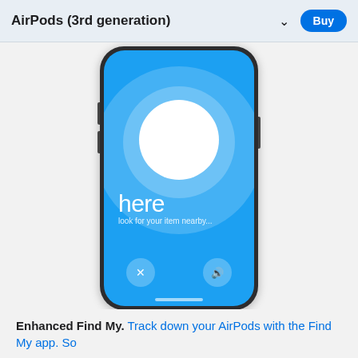AirPods (3rd generation)  ∨  Buy
[Figure (screenshot): iPhone screen showing Find My app with blue background, large white circle in center, text 'here' and 'look for your item nearby...' with X and speaker buttons at bottom]
Enhanced Find My. Track down your AirPods with the Find My app. So...